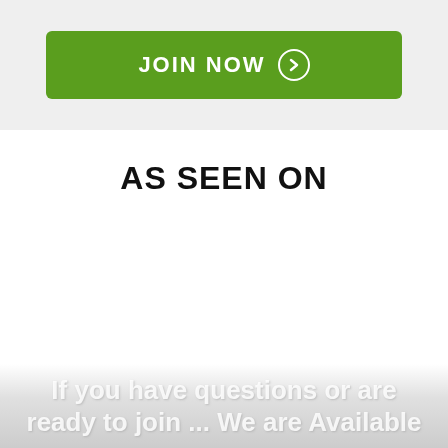[Figure (other): Green 'JOIN NOW' button with right-arrow circle icon on a light gray background]
AS SEEN ON
If you have questions or are ready to join ... We are Available